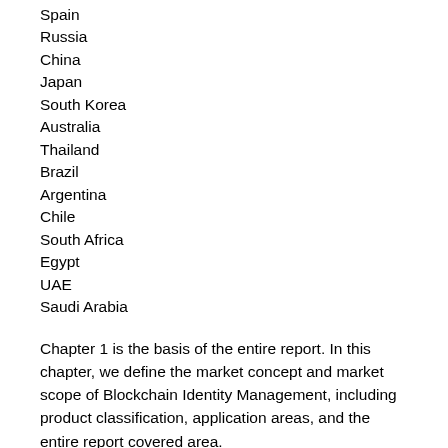Spain
Russia
China
Japan
South Korea
Australia
Thailand
Brazil
Argentina
Chile
South Africa
Egypt
UAE
Saudi Arabia
Chapter 1 is the basis of the entire report. In this chapter, we define the market concept and market scope of Blockchain Identity Management, including product classification, application areas, and the entire report covered area.
Chapter 2 is the core idea of the whole report. In this chapter, we provide a detailed introduction to our research methods and data sources.
Chapter 3 A